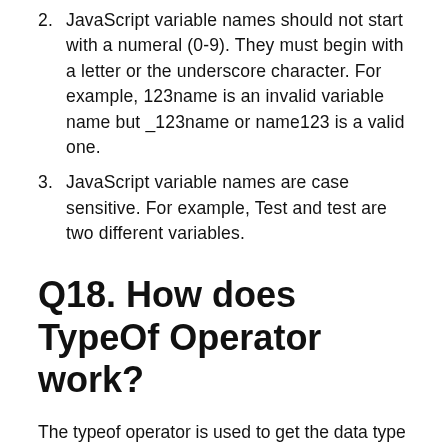2. JavaScript variable names should not start with a numeral (0-9). They must begin with a letter or the underscore character. For example, 123name is an invalid variable name but _123name or name123 is a valid one.
3. JavaScript variable names are case sensitive. For example, Test and test are two different variables.
Q18. How does TypeOf Operator work?
The typeof operator is used to get the data type of its operand. The operand can be either a literal or a data structure such as a variable, a function,